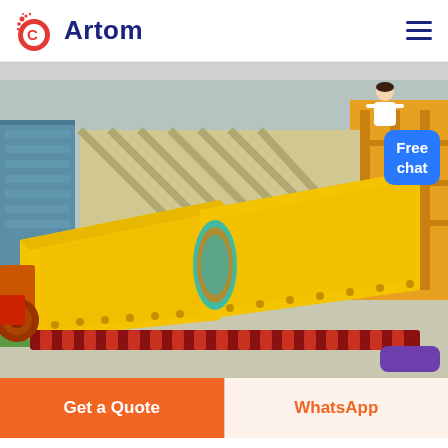Artom
[Figure (photo): Yellow industrial vibrating feeder / conveyor equipment photographed outdoors in a factory yard. Heavy steel yellow channel-shaped trough with bolted holes and a teal/orange flexible joint, with red roller conveyor components visible underneath. Orange crane structure visible in background.]
Free chat
Get a Quote
WhatsApp